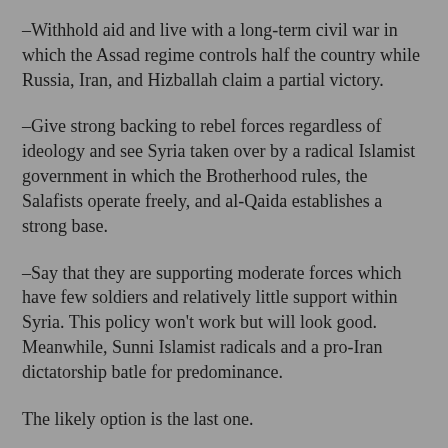–Withhold aid and live with a long-term civil war in which the Assad regime controls half the country while Russia, Iran, and Hizballah claim a partial victory.
–Give strong backing to rebel forces regardless of ideology and see Syria taken over by a radical Islamist government in which the Brotherhood rules, the Salafists operate freely, and al-Qaida establishes a strong base.
–Say that they are supporting moderate forces which have few soldiers and relatively little support within Syria. This policy won't work but will look good. Meanwhile, Sunni Islamist radicals and a pro-Iran dictatorship batle for predominance.
The likely option is the last one.
Isn't it time for the U.S. government, journalists, and academics to admit that they've been getting the Middle East all wrong? That they have often reversed the good and bad guys so that they have been backing the bad guys, anti-Americans, and even terrorists? Haven't the contradictions gotten to be so obvious that they